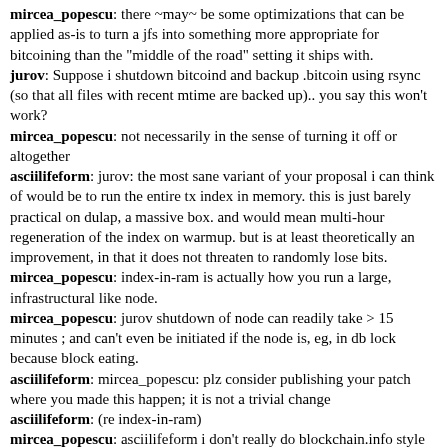mircea_popescu: there ~may~ be some optimizations that can be applied as-is to turn a jfs into something more appropriate for bitcoining than the "middle of the road" setting it ships with.
jurov: Suppose i shutdown bitcoind and backup .bitcoin using rsync (so that all files with recent mtime are backed up).. you say this won't work?
mircea_popescu: not necessarily in the sense of turning it off or altogether
asciilifeform: jurov: the most sane variant of your proposal i can think of would be to run the entire tx index in memory. this is just barely practical on dulap, a massive box. and would mean multi-hour regeneration of the index on warmup. but is at least theoretically an improvement, in that it does not threaten to randomly lose bits.
mircea_popescu: index-in-ram is actually how you run a large, infrastructural like node.
mircea_popescu: jurov shutdown of node can readily take > 15 minutes ; and can't even be initiated if the node is, eg, in db lock because block eating.
asciilifeform: mircea_popescu: plz consider publishing your patch where you made this happen; it is not a trivial change
asciilifeform: (re index-in-ram)
mircea_popescu: asciilifeform i don't really do blockchain.info style "public support". i think i have the stuff somewhere, i'll have to dig for it. basically it's, blk* live on /sda ; blkindex.dat and